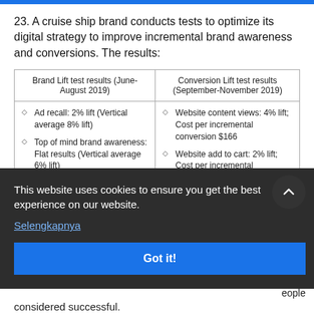23. A cruise ship brand conducts tests to optimize its digital strategy to improve incremental brand awareness and conversions. The results:
| Brand Lift test results (June-August 2019) | Conversion Lift test results (September-November 2019) |
| --- | --- |
| Ad recall: 2% lift (Vertical average 8% lift)
Top of mind brand awareness: Flat results (Vertical average 6% lift)
Purchase intention: 3% lift (Vertical ... | Website content views: 4% lift; Cost per incremental conversion $166
Website add to cart: 2% lift; Cost per incremental conversion $722
Website purchase: Flat ... |
This website uses cookies to ensure you get the best experience on our website.
Selengkapnya
Got it!
considered successful.